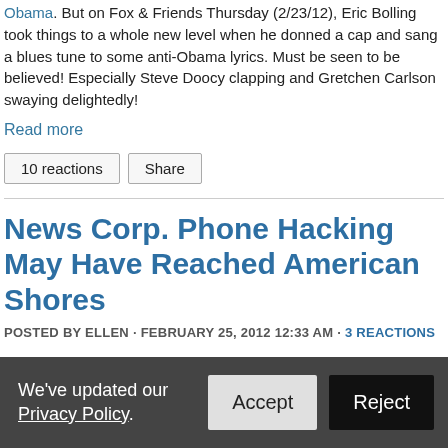Obama. But on Fox & Friends Thursday (2/23/12), Eric Bolling took things to a whole new level when he donned a cap and sang a blues tune to some anti-Obama lyrics. Must be seen to be believed! Especially Steve Doocy clapping and Gretchen Carlson swaying delightedly!
Read more
10 reactions   Share
News Corp. Phone Hacking May Have Reached American Shores
POSTED BY ELLEN · FEBRUARY 25, 2012 12:33 AM · 3 REACTIONS
A new report reveals that a Hollywood music agent's phone was hacked by News Corp. It's not clear whether the hacking occurred while she was in the U.S. or the U.K. But it's one more reason to suspect that the scandal - or the wrongdoing - may not be contained abroad.
We've updated our Privacy Policy.  Accept  Reject